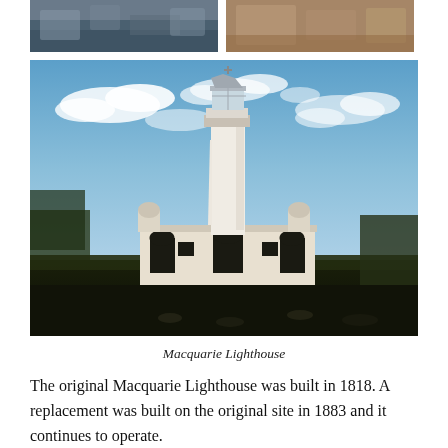[Figure (photo): Partial view of two small photos side by side at top: left shows water/rocks scene, right shows rocky terrain]
[Figure (photo): Large photograph of Macquarie Lighthouse — a tall white cylindrical lighthouse tower with a white keeper's building at the base featuring arched openings, set against a blue sky with scattered clouds and dark foreground lawn]
Macquarie Lighthouse
The original Macquarie Lighthouse was built in 1818. A replacement was built on the original site in 1883 and it continues to operate.